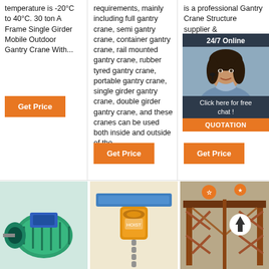temperature is -20°C to 40°C. 30 ton A Frame Single Girder Mobile Outdoor Gantry Crane With...
Get Price
requirements, mainly including full gantry crane, semi gantry crane, container gantry crane, rail mounted gantry crane, rubber tyred gantry crane, portable gantry crane, single girder gantry crane, double girder gantry crane, and these cranes can be used both inside and outside of the …
Get Price
is a professional Gantry Crane Structure supplier & manufacturer, offers integrated one-stop services, real-time online c... We are CNBM G... Fortune enterprise... largest Gantry Crane Structure... China.
Get Price
[Figure (photo): 24/7 online chat popup with woman wearing headset on dark navy background with quotation button]
[Figure (photo): Green electric motor / wire rope hoist component]
[Figure (photo): Yellow chain hoist with blue beam]
[Figure (photo): Large brown/rust colored gantry crane structure with orange decorative icons overlay]